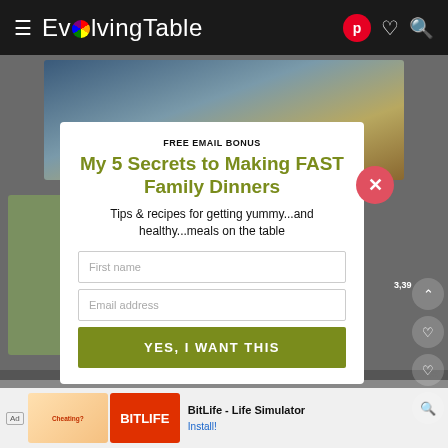EvolvingTable
[Figure (screenshot): Website screenshot background showing food images, darkened overlay]
[Figure (infographic): Email signup modal popup with close X button]
FREE EMAIL BONUS
My 5 Secrets to Making FAST Family Dinners
Tips & recipes for getting yummy...and healthy...meals on the table
[Figure (screenshot): Ad banner: BitLife - Life Simulator with Install! link]